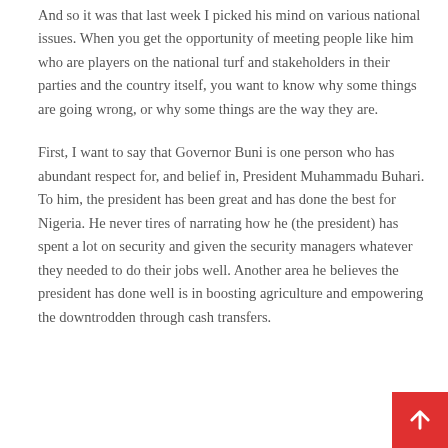And so it was that last week I picked his mind on various national issues. When you get the opportunity of meeting people like him who are players on the national turf and stakeholders in their parties and the country itself, you want to know why some things are going wrong, or why some things are the way they are.
First, I want to say that Governor Buni is one person who has abundant respect for, and belief in, President Muhammadu Buhari. To him, the president has been great and has done the best for Nigeria. He never tires of narrating how he (the president) has spent a lot on security and given the security managers whatever they needed to do their jobs well. Another area he believes the president has done well is in boosting agriculture and empowering the downtrodden through cash transfers.